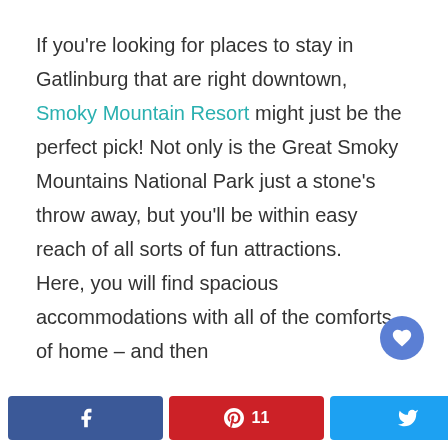If you're looking for places to stay in Gatlinburg that are right downtown, Smoky Mountain Resort might just be the perfect pick! Not only is the Great Smoky Mountains National Park just a stone's throw away, but you'll be within easy reach of all sorts of fun attractions.

Here, you will find spacious accommodations with all of the comforts of home – and then